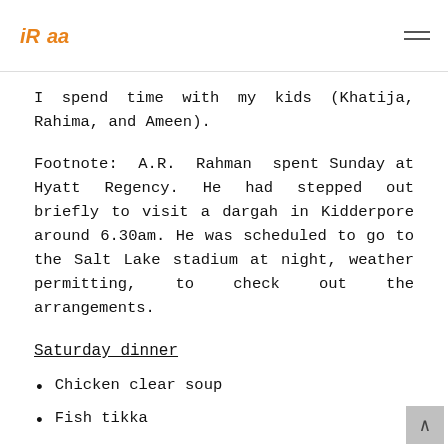IRaa logo and hamburger menu
I spend time with my kids (Khatija, Rahima, and Ameen).
Footnote: A.R. Rahman spent Sunday at Hyatt Regency. He had stepped out briefly to visit a dargah in Kidderpore around 6.30am. He was scheduled to go to the Salt Lake stadium at night, weather permitting, to check out the arrangements.
Saturday dinner
Chicken clear soup
Fish tikka